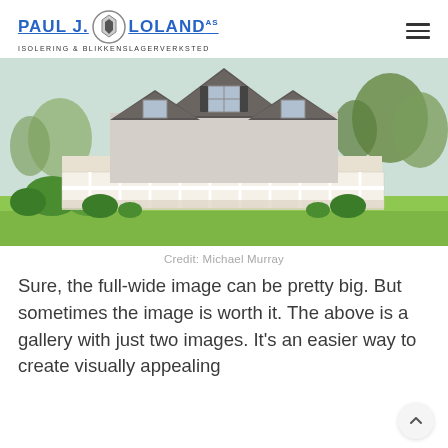PAUL J. LOLAND AS — ISOLERING & BLIKKENSLAGERVERKSTED
[Figure (photo): Photograph of a large white Cape Cod style house with wrap-around porch, dormer windows, dark shingle roof, surrounded by green lawn and shrubs, trees in background.]
Credit: Michael Murray
Sure, the full-wide image can be pretty big. But sometimes the image is worth it. The above is a gallery with just two images. It's an easier way to create visually appealing